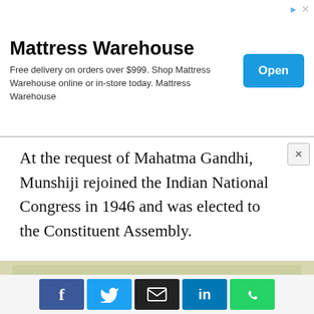[Figure (infographic): Advertisement banner for Mattress Warehouse. Text: 'Mattress Warehouse — Free delivery on orders over $999. Shop Mattress Warehouse online or in-store today. Mattress Warehouse'. Blue 'Open' button on the right.]
At the request of Mahatma Gandhi, Munshiji rejoined the Indian National Congress in 1946 and was elected to the Constituent Assembly.
[Figure (photo): Indian postage stamp showing K.M. Munshi — a man wearing glasses and a Nehru cap, with a tree emblem in a circle, denomination 60, text 'K.M.MUNSHI' and Devanagari script on the left side. Stamp is olive/khaki green.]
[Figure (infographic): Social share buttons row: Facebook (blue, 'f'), Twitter (light blue, bird), Email (black, envelope), LinkedIn (blue, 'in'), WhatsApp (green, phone icon).]